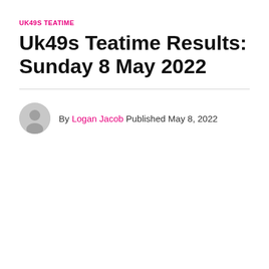UK49S TEATIME
Uk49s Teatime Results: Sunday 8 May 2022
By Logan Jacob Published May 8, 2022